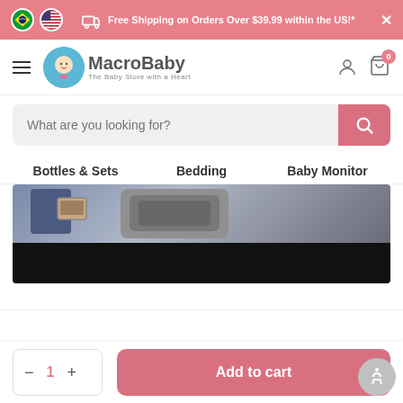[Figure (screenshot): MacroBaby e-commerce website screenshot showing banner, navigation, search bar, category links, hero image, and add to cart button]
Free Shipping on Orders Over $39.99 within the US!*
[Figure (logo): MacroBaby logo - The Baby Store with a Heart]
What are you looking for?
Bottles & Sets
Bedding
Baby Monitor
[Figure (photo): Hero banner image showing a person with a baby car seat device, black lower half]
Add to cart